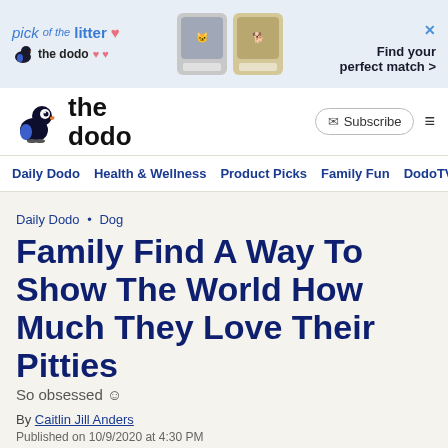[Figure (screenshot): Ad banner for The Dodo 'pick of the litter' pet adoption promotion with pet images and 'Find your perfect match >' call to action]
[Figure (logo): The Dodo logo — dodo bird icon next to bold text 'the dodo']
Subscribe | menu
Daily Dodo   Health & Wellness   Product Picks   Family Fun   DodoTV
Daily Dodo • Dog
Family Find A Way To Show The World How Much They Love Their Pitties
So obsessed ☺
By Caitlin Jill Anders
Published on 10/9/2020 at 4:30 PM